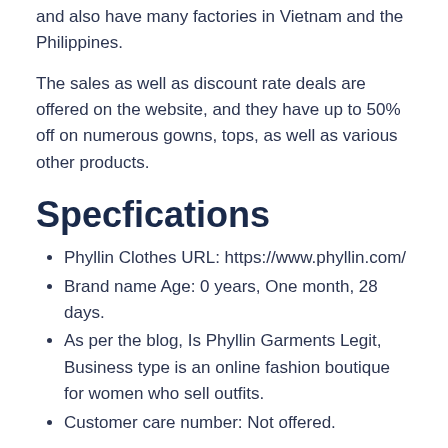and also have many factories in Vietnam and the Philippines.
The sales as well as discount rate deals are offered on the website, and they have up to 50% off on numerous gowns, tops, as well as various other products.
Specfications
Phyllin Clothes URL: https://www.phyllin.com/
Brand name Age: 0 years, One month, 28 days.
As per the blog, Is Phyllin Garments Legit, Business type is an online fashion boutique for women who sell outfits.
Customer care number: Not offered.